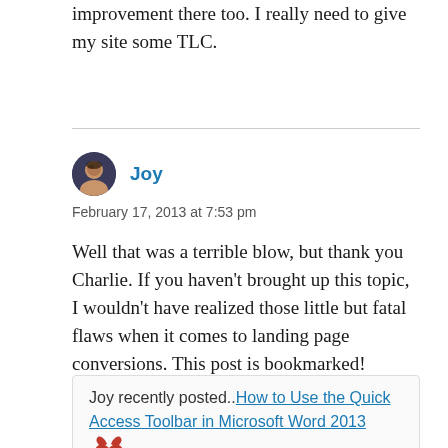improvement there too. I really need to give my site some TLC.
Joy
February 17, 2013 at 7:53 pm
Well that was a terrible blow, but thank you Charlie. If you haven't brought up this topic, I wouldn't have realized those little but fatal flaws when it comes to landing page conversions. This post is bookmarked!
Joy recently posted..How to Use the Quick Access Toolbar in Microsoft Word 2013